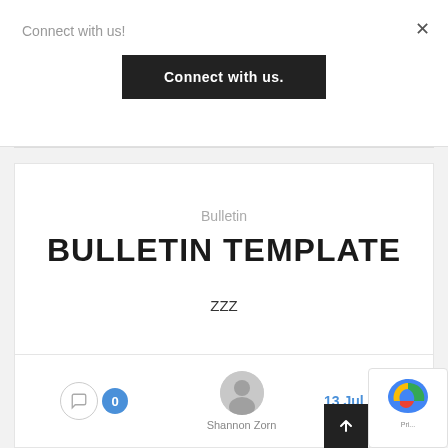Connect with us!
×
Connect with us.
Bulletin
BULLETIN TEMPLATE
ZZZ
0
Shannon Zorn
13 Jul 2